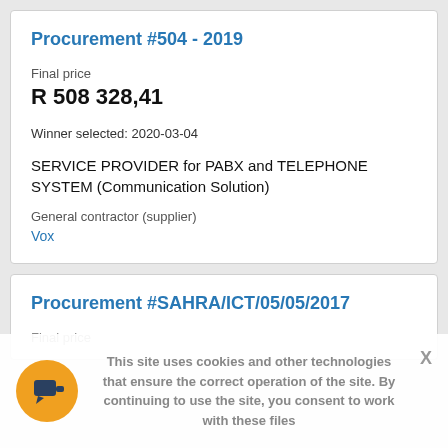Procurement #504 - 2019
Final price
R 508 328,41
Winner selected: 2020-03-04
SERVICE PROVIDER for PABX and TELEPHONE SYSTEM (Communication Solution)
General contractor (supplier)
Vox
Procurement #SAHRA/ICT/05/05/2017
Final price
This site uses cookies and other technologies that ensure the correct operation of the site. By continuing to use the site, you consent to work with these files